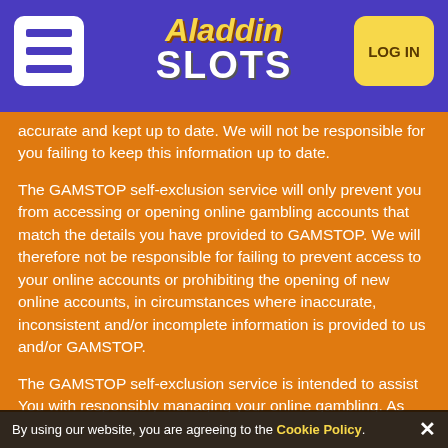[Figure (logo): Aladdin Slots website header with hamburger menu icon, Aladdin Slots logo in center, and LOG IN button on right, on purple background]
accurate and kept up to date. We will not be responsible for you failing to keep this information up to date.
The GAMSTOP self-exclusion service will only prevent you from accessing or opening online gambling accounts that match the details you have provided to GAMSTOP. We will therefore not be responsible for failing to prevent access to your online accounts or prohibiting the opening of new online accounts, in circumstances where inaccurate, inconsistent and/or incomplete information is provided to us and/or GAMSTOP.
The GAMSTOP self-exclusion service is intended to assist You with responsibly managing your online gambling. As per the 'Your Responsibility' section of the GAMSTOP terms of service,
By using our website, you are agreeing to the Cookie Policy. ✕